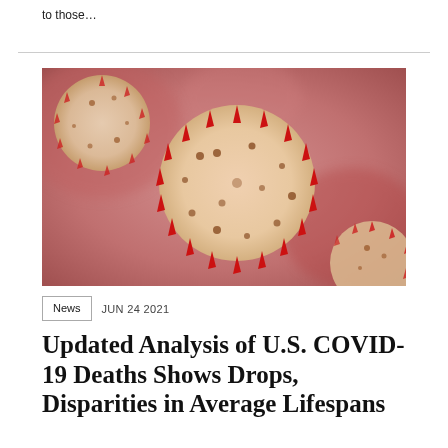to those…
[Figure (photo): Close-up microscopic illustration of COVID-19 coronavirus particles, showing spherical virus bodies with red spike proteins against a pink/red blurred background.]
News   JUN 24 2021
Updated Analysis of U.S. COVID-19 Deaths Shows Drops, Disparities in Average Lifespans